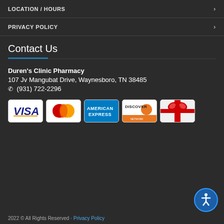LOCATION / HOURS
PRIVACY POLICY
Contact Us
Duren's Clinic Pharmacy
107 Jv Mangubat Drive, Waynesboro, TN 38485
☎ (931) 722-2296
[Figure (infographic): Payment method logos: Visa, MasterCard, American Express, Discover Network, Gift Card]
2022 © All Rights Reserved · Privacy Policy